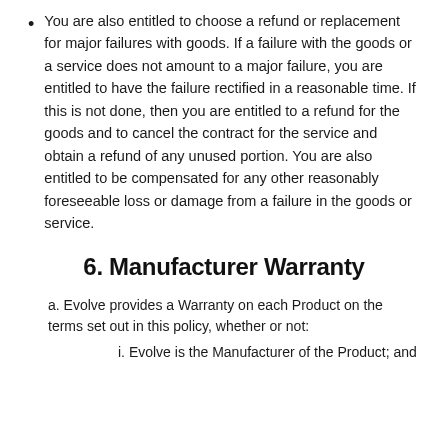You are also entitled to choose a refund or replacement for major failures with goods. If a failure with the goods or a service does not amount to a major failure, you are entitled to have the failure rectified in a reasonable time. If this is not done, then you are entitled to a refund for the goods and to cancel the contract for the service and obtain a refund of any unused portion. You are also entitled to be compensated for any other reasonably foreseeable loss or damage from a failure in the goods or service.
6. Manufacturer Warranty
a. Evolve provides a Warranty on each Product on the terms set out in this policy, whether or not:
i. Evolve is the Manufacturer of the Product; and